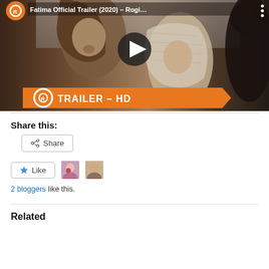[Figure (screenshot): YouTube-style video thumbnail for 'Fatima Official Trailer (2020)' showing a Rotten Tomatoes HD trailer badge on an orange banner with two young women/girls in period costume. A play button is centered on the dark cinematic scene.]
Share this:
[Figure (other): Share button with share icon]
[Figure (other): Like button with star icon and two blogger avatar thumbnails]
2 bloggers like this.
Related